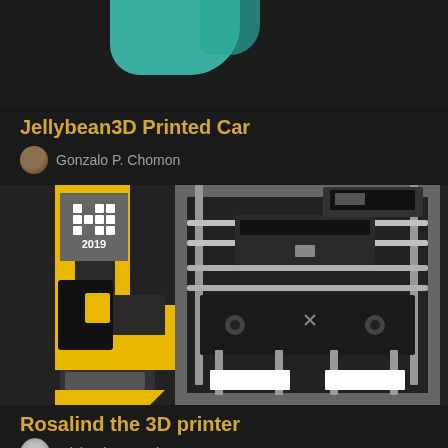[Figure (illustration): Partial top image strip showing teal/cyan colored object on dark background]
Jellybean3D Printed Car
Gonzalo P. Chomon
[Figure (illustration): 3D model of a 3D printer (Rosalind) shown in black and yellow/gold colors with a 2019 badge overlay in the top-left corner. The printer has a cubic frame with yellow side panels forming a J-shape logo, metal rods, and a print bed.]
Rosalind the 3D printer
Michael Demetriou